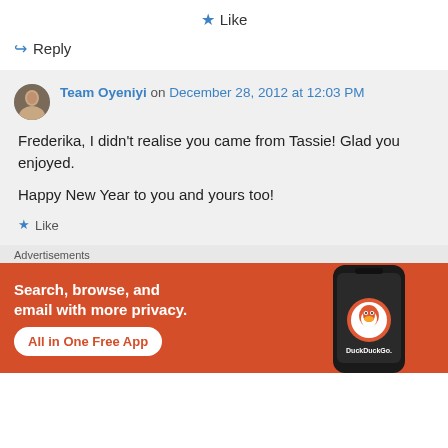★ Like
↪ Reply
Team Oyeniyi on December 28, 2012 at 12:03 PM
Frederika, I didn't realise you came from Tassie! Glad you enjoyed.

Happy New Year to you and yours too!
★ Like
Advertisements
[Figure (screenshot): DuckDuckGo advertisement banner: orange background with white bold text 'Search, browse, and email with more privacy.' and a white pill button 'All in One Free App', with a dark phone mockup showing the DuckDuckGo logo on the right.]